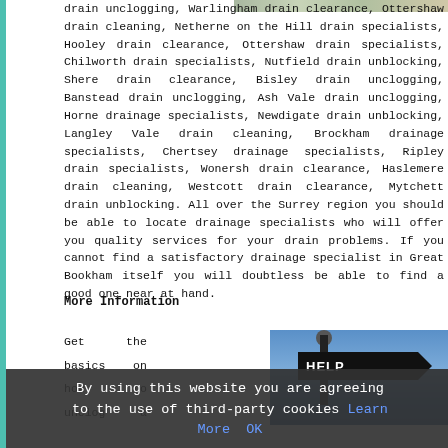[Figure (photo): Partial top image strip showing outdoor drain or landscape scene]
drain unclogging, Warlingham drain clearance, Ottershaw drain cleaning, Netherne on the Hill drain specialists, Hooley drain clearance, Ottershaw drain specialists, Chilworth drain specialists, Nutfield drain unblocking, Shere drain clearance, Bisley drain unclogging, Banstead drain unclogging, Ash Vale drain unclogging, Horne drainage specialists, Newdigate drain unblocking, Langley Vale drain cleaning, Brockham drainage specialists, Chertsey drainage specialists, Ripley drain specialists, Wonersh drain clearance, Haslemere drain cleaning, Westcott drain clearance, Mytchett drain unblocking. All over the Surrey region you should be able to locate drainage specialists who will offer you quality services for your drain problems. If you cannot find a satisfactory drainage specialist in Great Bookham itself you will doubtless be able to find a good one near at hand.
More Information
Get the basics on how to unclog a
[Figure (photo): Street sign post with arrow sign saying HELP against a blue sky with clouds]
By using this website you are agreeing to the use of third-party cookies Learn More OK